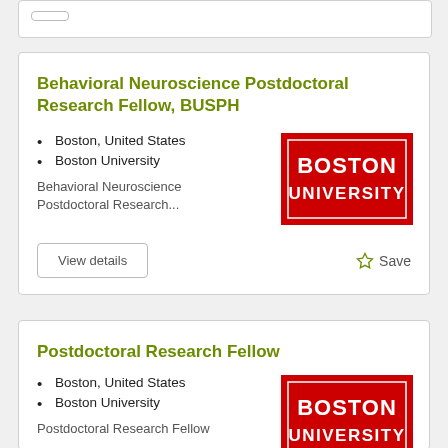Behavioral Neuroscience Postdoctoral Research Fellow, BUSPH
Boston, United States
Boston University
Behavioral Neuroscience Postdoctoral Research...
[Figure (logo): Boston University red logo with white text]
View details
Save
Postdoctoral Research Fellow
Boston, United States
Boston University
Postdoctoral Research Fellow
[Figure (logo): Boston University red logo with white text]